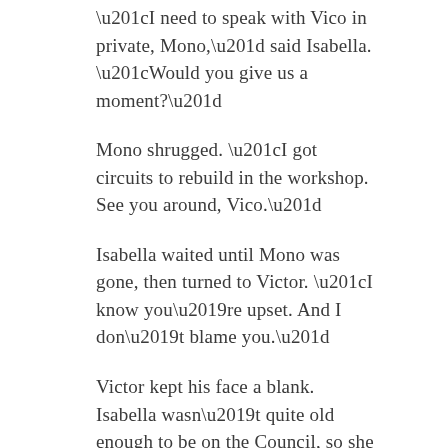“I need to speak with Vico in private, Mono,” said Isabella. “Would you give us a moment?”
Mono shrugged. “I got circuits to rebuild in the workshop. See you around, Vico.”
Isabella waited until Mono was gone, then turned to Victor. “I know you’re upset. And I don’t blame you.”
Victor kept his face a blank. Isabella wasn’t quite old enough to be on the Council, so she might not be speaking of Janda.
Isabella rolled her eyes. “Don’t play dumb, Vico. I’m not an idiot. I know what just happened here.